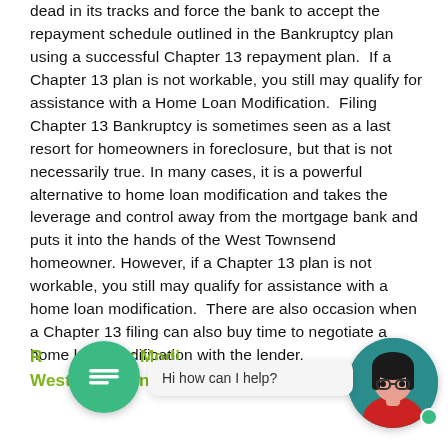dead in its tracks and force the bank to accept the repayment schedule outlined in the Bankruptcy plan using a successful Chapter 13 repayment plan.  If a Chapter 13 plan is not workable, you still may qualify for assistance with a Home Loan Modification.  Filing Chapter 13 Bankruptcy is sometimes seen as a last resort for homeowners in foreclosure, but that is not necessarily true. In many cases, it is a powerful alternative to home loan modification and takes the leverage and control away from the mortgage bank and puts it into the hands of the West Townsend homeowner. However, if a Chapter 13 plan is not workable, you still may qualify for assistance with a home loan modification.  There are also occasion when a Chapter 13 filing can also buy time to negotiate a home loan modification with the lender.
Refinance or Modi... ge West Townsend Chapter 13 Bankrupt...
[Figure (illustration): Green chat bubble icon with equals/lines symbol, a chat popup saying 'Hi how can I help?', and a circular avatar of a woman with glasses on teal background with a green online dot.]